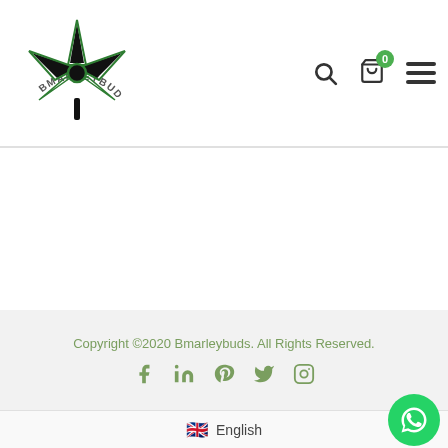[Figure (logo): Bmarleybuds logo: black cannabis leaf with green outline, text 'BMARLEYBUDS' arched above]
Copyright ©2020 Bmarleybuds. All Rights Reserved.
[Figure (infographic): Social media icons: Facebook, LinkedIn, Pinterest, Twitter, Instagram in green]
English